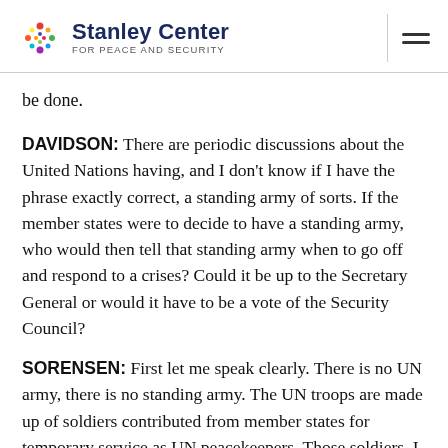Stanley Center FOR PEACE AND SECURITY
be done.
DAVIDSON: There are periodic discussions about the United Nations having, and I don't know if I have the phrase exactly correct, a standing army of sorts. If the member states were to decide to have a standing army, who would then tell that standing army when to go off and respond to a crises? Could it be up to the Secretary General or would it have to be a vote of the Security Council?
SORENSEN: First let me speak clearly. There is no UN army, there is no standing army. The UN troops are made up of soldiers contributed from member states for temporary service as UN peacekeepers. Those soldiers, I should add, wear